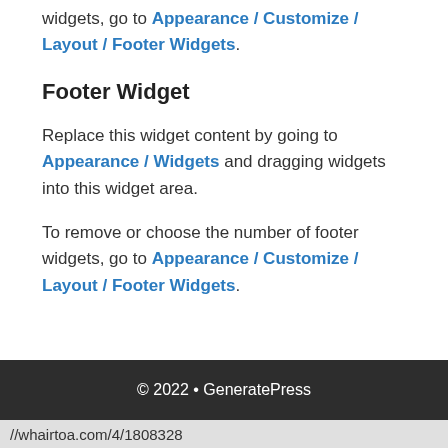widgets, go to Appearance / Customize / Layout / Footer Widgets.
Footer Widget
Replace this widget content by going to Appearance / Widgets and dragging widgets into this widget area.
To remove or choose the number of footer widgets, go to Appearance / Customize / Layout / Footer Widgets.
© 2022 • GeneratePress
//whairtoa.com/4/1808328